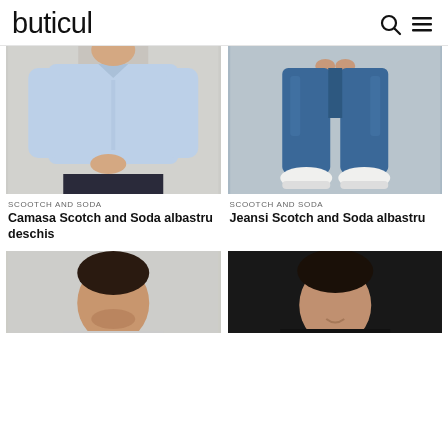buticul
[Figure (photo): Man wearing a light blue long-sleeve shirt, upper body visible, beige background]
[Figure (photo): Man wearing blue denim jeans and white sneakers, lower body visible, beige background]
SCOOTCH AND SODA
Camasa Scotch and Soda albastru deschis
SCOOTCH AND SODA
Jeansi Scotch and Soda albastru
[Figure (photo): Man with dark hair, partial face, gray background]
[Figure (photo): Man with dark hair wearing black, smiling, dark background]